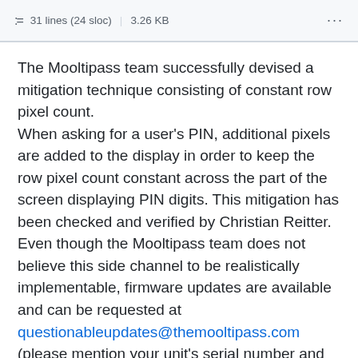31 lines (24 sloc)  |  3.26 KB  ···
The Mooltipass team successfully devised a mitigation technique consisting of constant row pixel count.
When asking for a user's PIN, additional pixels are added to the display in order to keep the row pixel count constant across the part of the screen displaying PIN digits. This mitigation has been checked and verified by Christian Reitter.
Even though the Mooltipass team does not believe this side channel to be realistically implementable, firmware updates are available and can be requested at questionableupdates@themooltipass.com (please mention your unit's serial number and order / backer number).
15h59 CEST time edit: s/migitation/mitigation